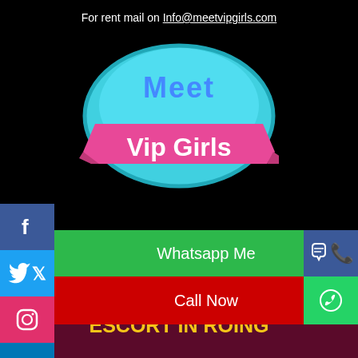For rent mail on Info@meetvipgirls.com
[Figure (logo): Meet VIP Girls logo — teal oval with 'Meet' in blue text and 'Vip Girls' on a pink ribbon banner]
Whatsapp Me
Call Now
ROING ESCORT SERVICE, CALL GIRLS IN ROING, RUSSIAN ESCORT IN ROING